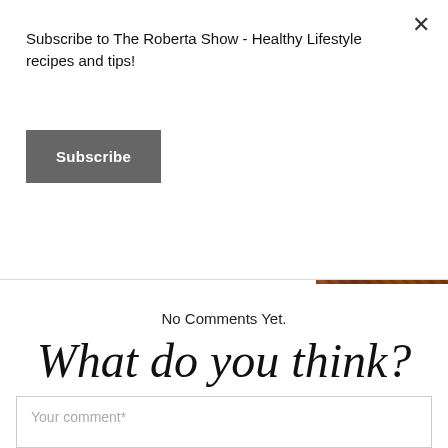Subscribe to The Roberta Show - Healthy Lifestyle recipes and tips!
Subscribe
[Figure (photo): Close-up photo of braided food item, likely bread or pastry, with brown golden texture.]
No Comments Yet.
What do you think?
Your email address will not be published. Required fields are marked *
Your comment*